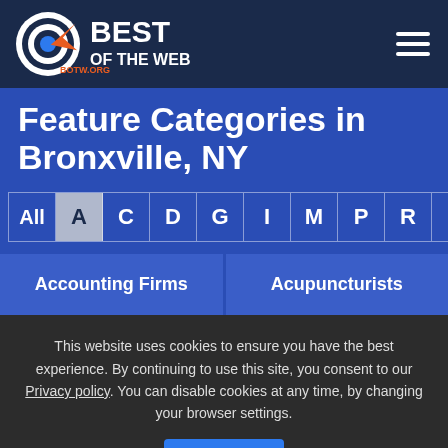[Figure (logo): Best of the Web logo with circular target icon and text 'BEST OF THE WEB' with 'BOTW.ORG' below]
Feature Categories in Bronxville, NY
All | A | C | D | G | I | M | P | R | S
Accounting Firms
Acupuncturists
This website uses cookies to ensure you have the best experience. By continuing to use this site, you consent to our Privacy policy. You can disable cookies at any time, by changing your browser settings.
Close